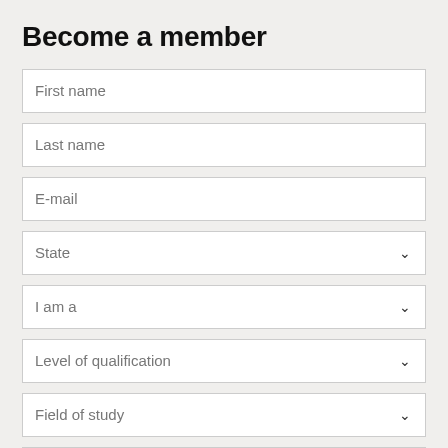Become a member
First name
Last name
E-mail
State
I am a
Level of qualification
Field of study
Study mode